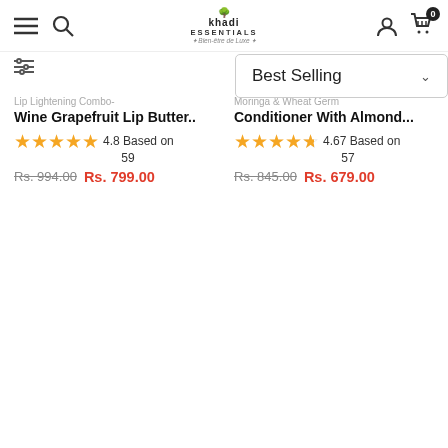Khadi Essentials — Bien-être de Luxe | Navigation header with hamburger, search, logo, user, cart (0)
Best Selling (dropdown)
Lip Lightening Combo-
Wine Grapefruit Lip Butter..
★★★★★ 4.8 Based on 59
Rs. 994.00  Rs. 799.00
Moringa & Wheat Germ
Conditioner With Almond...
★★★★☆ 4.67 Based on 57
Rs. 845.00  Rs. 679.00
[Figure (photo): Product image: Lip butter tins with rose flowers]
-20%
ADD TO CART
[Figure (photo): Product image: Rose Bath Bar in hexagonal gift box with rose flowers, Khadi Essentials branding]
-20%